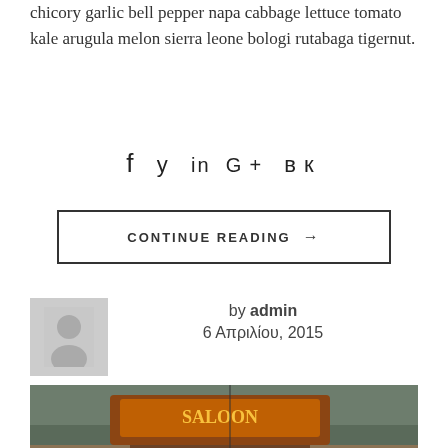chicory garlic bell pepper napa cabbage lettuce tomato kale arugula melon sierra leone bologi rutabaga tigernut.
[Figure (other): Social media icons: f (Facebook), bird/Twitter, in (LinkedIn), G+ (Google Plus), VK]
CONTINUE READING →
by admin
6 Απριλίου, 2015
[Figure (photo): Interior photo of a rustic bar/saloon with wooden decor, warm lighting, bar counter, and shelves with bottles]